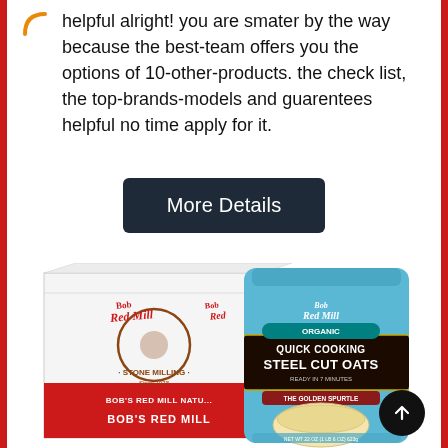helpful alright! you are smater by the way because the best-team offers you the options of 10-other-products. the check list, the top-brands-models and guarentees helpful no time apply for it.
[Figure (other): Dark button with white text reading 'More Details']
[Figure (photo): Product photo showing Bob's Red Mill case box and a bag of Organic Quick Cooking Steel Cut Oats (Ready in 7 Minutes, The Golden Spurtle award) against a white background.]